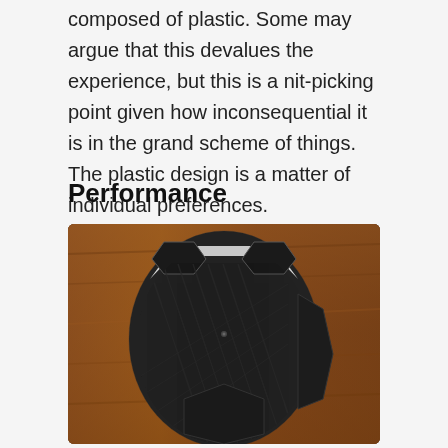composed of plastic. Some may argue that this devalues the experience, but this is a nit-picking point given how inconsequential it is in the grand scheme of things. The plastic design is a matter of individual preferences.
Performance
[Figure (photo): Bottom view of a gaming mouse showing carbon fiber texture pattern, hexagonal design elements, silver accents, and side buttons on a wooden surface background]